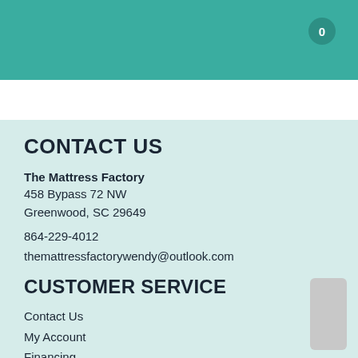0
CONTACT US
The Mattress Factory
458 Bypass 72 NW
Greenwood, SC 29649

864-229-4012

themattressfactorywendy@outlook.com
CUSTOMER SERVICE
Contact Us
My Account
Financing
Privacy Policy
Terms of Service
Accessibility